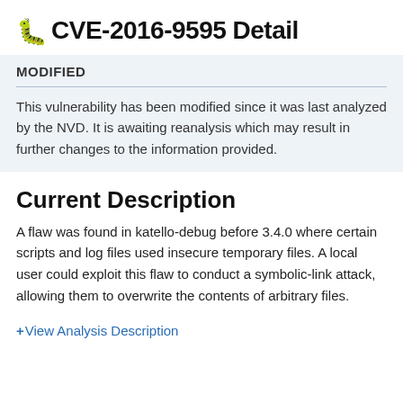CVE-2016-9595 Detail
MODIFIED
This vulnerability has been modified since it was last analyzed by the NVD. It is awaiting reanalysis which may result in further changes to the information provided.
Current Description
A flaw was found in katello-debug before 3.4.0 where certain scripts and log files used insecure temporary files. A local user could exploit this flaw to conduct a symbolic-link attack, allowing them to overwrite the contents of arbitrary files.
View Analysis Description